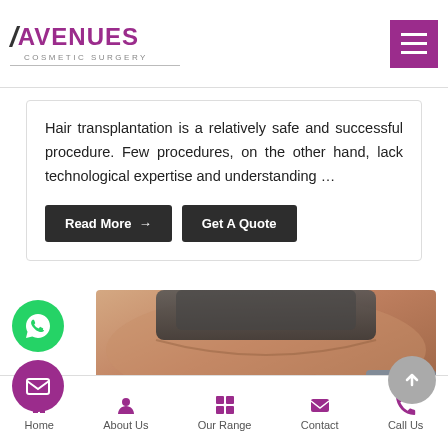Avenues Cosmetic Surgery
Hair transplantation is a relatively safe and successful procedure. Few procedures, on the other hand, lack technological expertise and understanding ...
Read More →
Get A Quote
[Figure (photo): Close-up photo of a person's scalp showing hair transplant procedure area]
Home | About Us | Our Range | Contact | Call Us